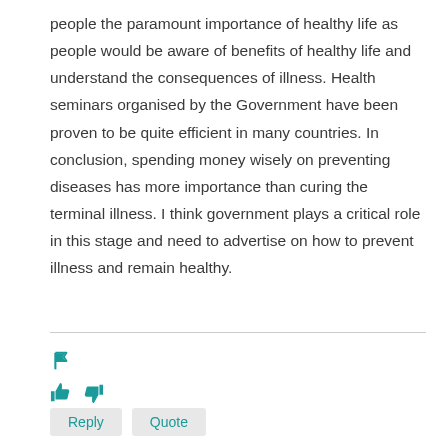people the paramount importance of healthy life as people would be aware of benefits of healthy life and understand the consequences of illness. Health seminars organised by the Government have been proven to be quite efficient in many countries. In conclusion, spending money wisely on preventing diseases has more importance than curing the terminal illness. I think government plays a critical role in this stage and need to advertise on how to prevent illness and remain healthy.
[Figure (other): Flag icon, thumbs up and thumbs down icons, Reply and Quote buttons — comment interaction controls]